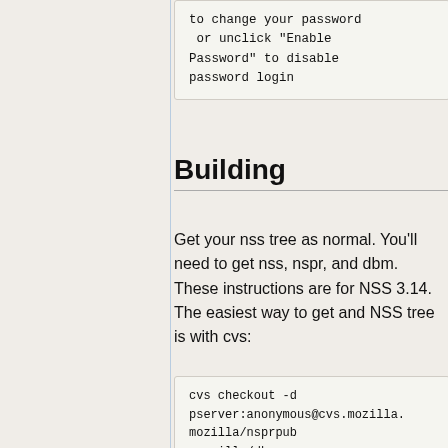to change your password or unclick "Enable Password" to disable password login
Building
Get your nss tree as normal. You'll need to get nss, nspr, and dbm. These instructions are for NSS 3.14. The easiest way to get and NSS tree is with cvs:
cvs checkout -d pserver:anonymous@cvs.mozilla. mozilla/nsprpub mozilla/dbm mozilla/security/coreconf mozilla/security/nss mozilla/security/dbm